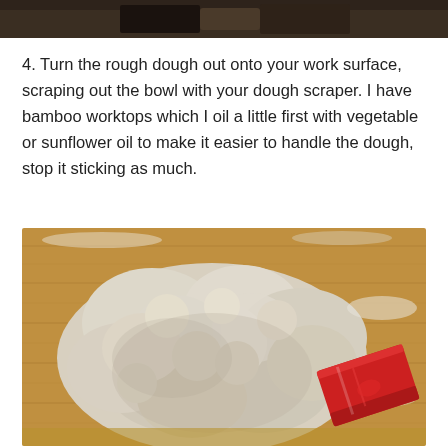[Figure (photo): Top portion of a photo showing a dark background, partially cropped at the top of the page]
4. Turn the rough dough out onto your work surface, scraping out the bowl with your dough scraper. I have bamboo worktops which I oil a little first with vegetable or sunflower oil to make it easier to handle the dough, stop it sticking as much.
[Figure (photo): A rough, shaggy lump of dough on a bamboo wooden cutting board, with a red dough scraper visible to the right, and flour dusted on the surface.]